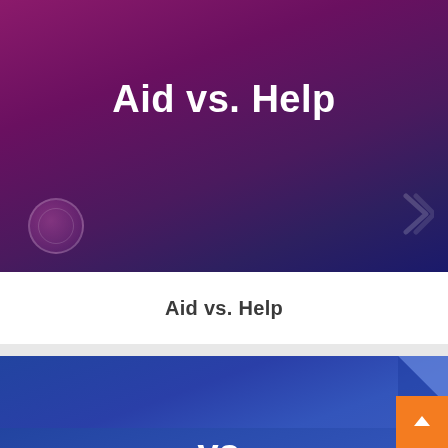[Figure (screenshot): Thumbnail card with purple-to-dark-blue gradient background showing title 'Aid vs. Help' in white bold text, with decorative circle and chevron elements]
Aid vs. Help
[Figure (screenshot): Thumbnail card with blue gradient background showing title 'Immersion vs.' in white bold text, partially visible, with folded corner and orange scroll-to-top button]